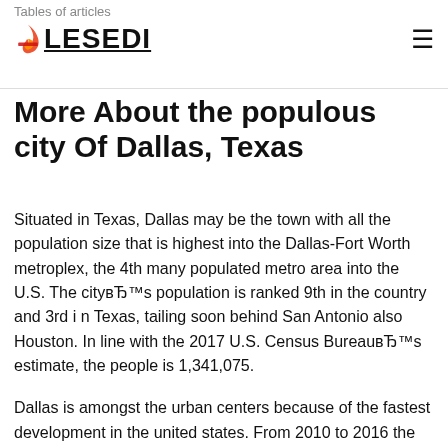Tables of articles
More About the populous city Of Dallas, Texas
Situated in Texas, Dallas may be the town with all the population size that is highest into the Dallas-Fort Worth metroplex, the 4th many populated metro area into the U.S. The cityвЂ™s population is ranked 9th in the country and 3rd i n Texas, tailing soon behind San Antonio also Houston. In line with the 2017 U.S. Census BureauвЂ™s estimate, the people is 1,341,075.
Dallas is amongst the urban centers because of the fastest development in the united states. From 2010 to 2016 the best within borders migration of this U.S. ended up being recorded in Dallas, over 300,000. As a whole, the Dallas-Fort Worth metropolitan area recorded the second best increase in populace among all city facilities in the united kingdom,